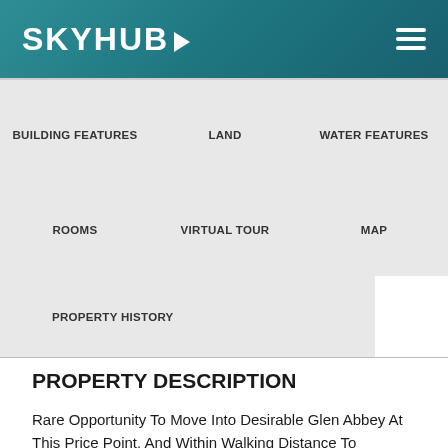SKYHUB
BUILDING FEATURES
LAND
WATER FEATURES
ROOMS
VIRTUAL TOUR
MAP
PROPERTY HISTORY
PROPERTY DESCRIPTION
Rare Opportunity To Move Into Desirable Glen Abbey At This Price Point, And Within Walking Distance To Monastery Bakery! Welcome To This Traditional Two Storey Detached Home On A Quiet Street Just Bursting With Potential. Situated On A 42-Foot Lot With A Large Recently Sodded & Fully Fenced Backyard (2020 Or Newer) & No Direct Facing Neighbours. This Home Has A Bedroom & 2.5 Bathrooms, A 5-Car Garage And...